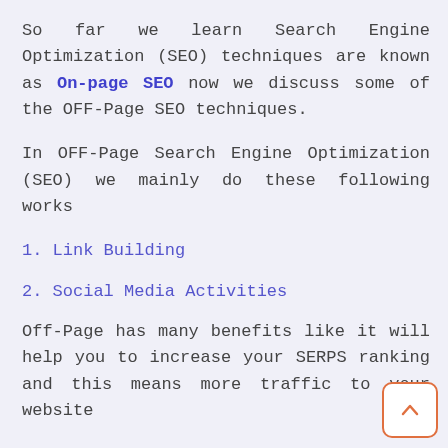So far we learn Search Engine Optimization (SEO) techniques are known as On-page SEO now we discuss some of the OFF-Page SEO techniques.
In OFF-Page Search Engine Optimization (SEO) we mainly do these following works
1. Link Building
2. Social Media Activities
Off-Page has many benefits like it will help you to increase your SERPS ranking and this means more traffic to your website